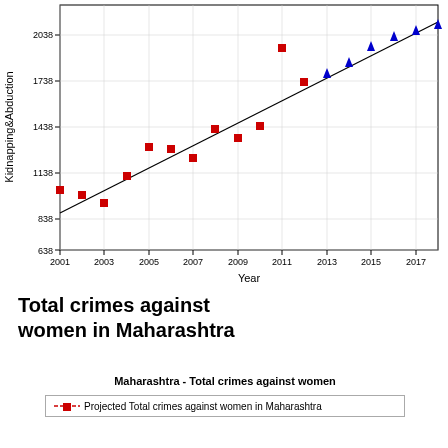[Figure (scatter-plot): Kidnapping & Abduction vs Year]
Total crimes against women in Maharashtra
Maharashtra  -  Total crimes against women
Projected Total crimes against women in Maharashtra